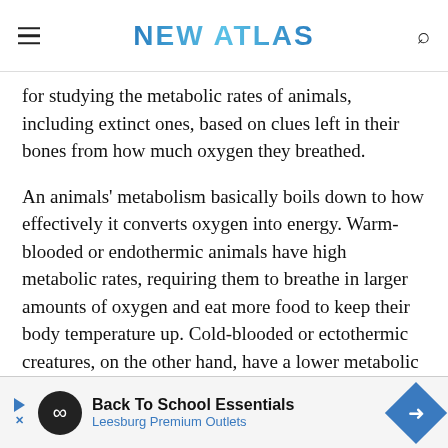NEW ATLAS
for studying the metabolic rates of animals, including extinct ones, based on clues left in their bones from how much oxygen they breathed.
An animals' metabolism basically boils down to how effectively it converts oxygen into energy. Warm-blooded or endothermic animals have high metabolic rates, requiring them to breathe in larger amounts of oxygen and eat more food to keep their body temperature up. Cold-blooded or ectothermic creatures, on the other hand, have a lower metabolic rate, so they breathe and eat less but instead rely on heat f[rom their environment to...]
[Figure (infographic): Advertisement banner: Back To School Essentials - Leesburg Premium Outlets, with infinity symbol logo and blue diamond arrow icon]